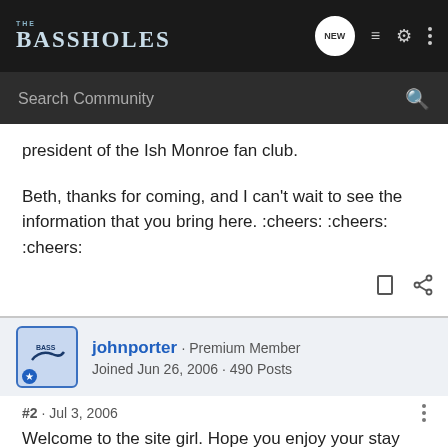[Figure (logo): THE BASSHOLES forum logo in white and blue text on dark background]
Search Community
president of the Ish Monroe fan club.
Beth, thanks for coming, and I can't wait to see the information that you bring here. :cheers: :cheers: :cheers:
johnporter · Premium Member
Joined Jun 26, 2006 · 490 Posts
#2 · Jul 3, 2006
Welcome to the site girl. Hope you enjoy your stay here.
John